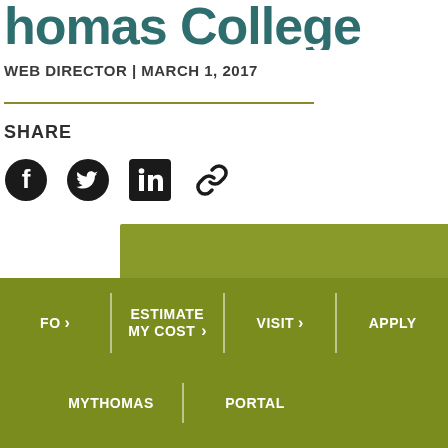Thomas College
WEB DIRECTOR | MARCH 1, 2017
SHARE
[Figure (infographic): Social media sharing icons: Facebook, Twitter, LinkedIn, and a link/chain icon]
[Figure (other): Partial green/olive colored banner element]
FO > | ESTIMATE MY COST > | VISIT > | APPLY | MYTHOMAS | PORTAL